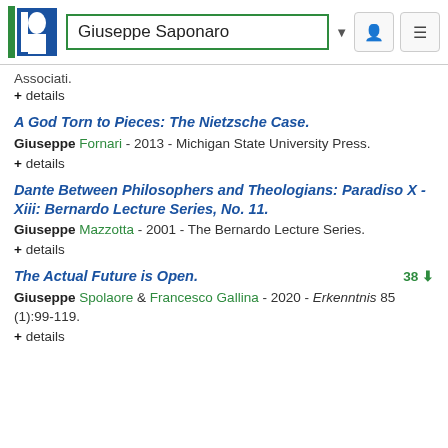[Figure (screenshot): PhilPapers website header with logo, search box showing 'Giuseppe Saponaro', dropdown arrow, user icon, and menu icon]
Associati.
+ details
A God Torn to Pieces: The Nietzsche Case.
Giuseppe Fornari - 2013 - Michigan State University Press.
+ details
Dante Between Philosophers and Theologians: Paradiso X - Xiii: Bernardo Lecture Series, No. 11.
Giuseppe Mazzotta - 2001 - The Bernardo Lecture Series.
+ details
The Actual Future is Open.
Giuseppe Spolaore & Francesco Gallina - 2020 - Erkenntnis 85 (1):99-119.
+ details